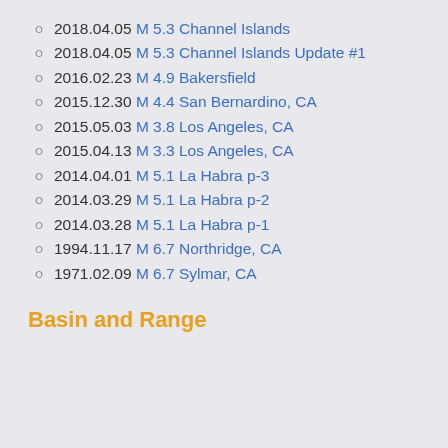2018.04.05 M 5.3 Channel Islands
2018.04.05 M 5.3 Channel Islands Update #1
2016.02.23 M 4.9 Bakersfield
2015.12.30 M 4.4 San Bernardino, CA
2015.05.03 M 3.8 Los Angeles, CA
2015.04.13 M 3.3 Los Angeles, CA
2014.04.01 M 5.1 La Habra p-3
2014.03.29 M 5.1 La Habra p-2
2014.03.28 M 5.1 La Habra p-1
1994.11.17 M 6.7 Northridge, CA
1971.02.09 M 6.7 Sylmar, CA
Basin and Range